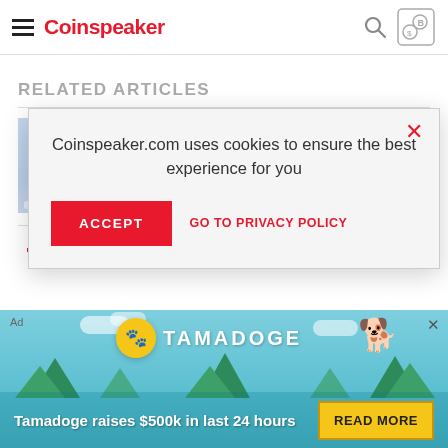Coinspeaker
RELATED ARTICLES
[Figure (screenshot): Article thumbnail image showing a document or web interface screenshot with blue tones]
SEC and CFTC Wants Public Opinion
[Figure (infographic): Cookie consent popup dialog reading: Coinspeaker.com uses cookies to ensure the best experience for you. With ACCEPT button and GO TO PRIVACY POLICY link.]
[Figure (infographic): Tamadoge advertisement banner: Tamadoge raises $500k in last 24 hours. READ MORE button. Features Tamadoge logo with coin and dog character on teal background with tree scenery.]